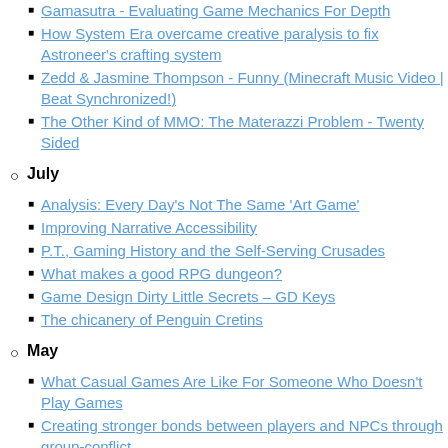Gamasutra - Evaluating Game Mechanics For Depth
How System Era overcame creative paralysis to fix Astroneer's crafting system
Zedd & Jasmine Thompson - Funny (Minecraft Music Video | Beat Synchronized!)
The Other Kind of MMO: The Materazzi Problem - Twenty Sided
July
Analysis: Every Day's Not The Same 'Art Game'
Improving Narrative Accessibility
P.T., Gaming History and the Self-Serving Crusades
What makes a good RPG dungeon?
Game Design Dirty Little Secrets – GD Keys
The chicanery of Penguin Cretins
May
What Casual Games Are Like For Someone Who Doesn't Play Games
Creating stronger bonds between players and NPCs through group-conflict
Cheating Lets You Experience the Best Parts of a